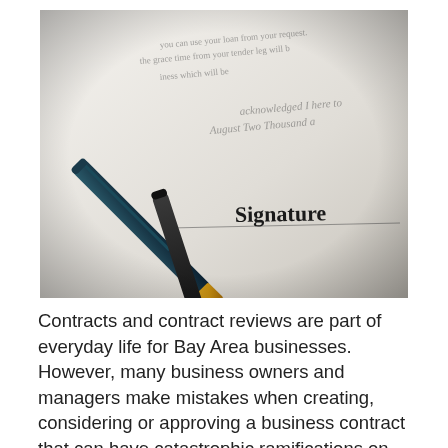[Figure (photo): Close-up photo of a contract document with 'Signature' label and a signature line, with two pens laid on top — one teal/dark green with a gold nib and one black with a gold nib.]
Contracts and contract reviews are part of everyday life for Bay Area businesses.  However, many business owners and managers make mistakes when creating, considering or approving a business contract that can have catastrophic ramifications on your business.  Here are five common mistakes in business contracts and how to avoid